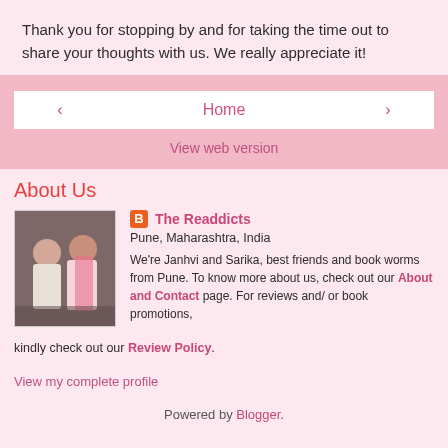Thank you for stopping by and for taking the time out to share your thoughts with us. We really appreciate it!
Home
View web version
About Us
[Figure (photo): Two women standing together in traditional Indian attire]
The Readdicts
Pune, Maharashtra, India
We're Janhvi and Sarika, best friends and book worms from Pune. To know more about us, check out our About and Contact page. For reviews and/ or book promotions, kindly check out our Review Policy.
View my complete profile
Powered by Blogger.